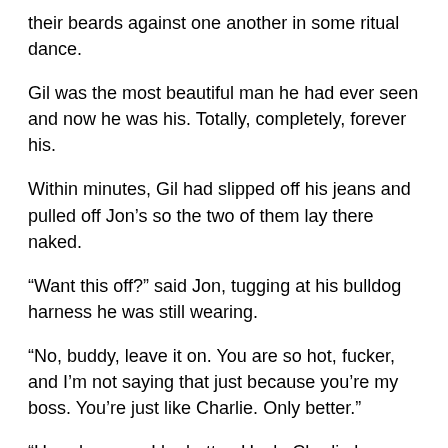their beards against one another in some ritual dance.
Gil was the most beautiful man he had ever seen and now he was his. Totally, completely, forever his.
Within minutes, Gil had slipped off his jeans and pulled off Jon’s so the two of them lay there naked.
“Want this off?” said Jon, tugging at his bulldog harness he was still wearing.
“No, buddy, leave it on. You are so hot, fucker, and I’m not saying that just because you’re my boss. You’re just like Charlie. Only better.”
“How, how can I be better. Uncle Charlie knew so much more about all of this than I do. I feel like some country hick.”